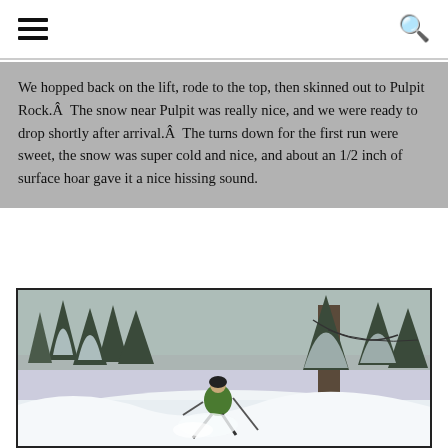navigation header with hamburger menu and search icon
We hopped back on the lift, rode to the top, then skinned out to Pulpit Rock.Â  The snow near Pulpit was really nice, and we were ready to drop shortly after arrival.Â  The turns down for the first run were sweet, the snow was super cold and nice, and about an 1/2 inch of surface hoar gave it a nice hissing sound.
[Figure (photo): A skier in deep powder snow surrounded by snow-covered trees, wearing a green backpack and carrying ski poles, skiing through deep snow.]